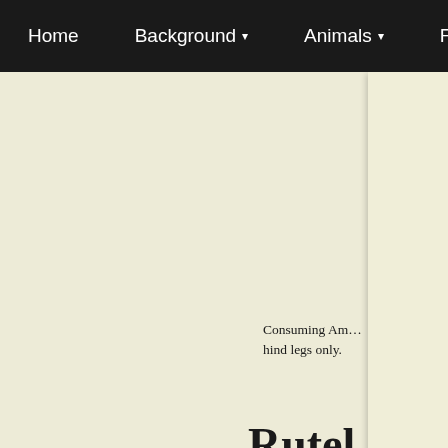Home  Background ▾  Animals ▾  Fungi ▾  Pla…
Consuming Am… hind legs only.
Rutel…